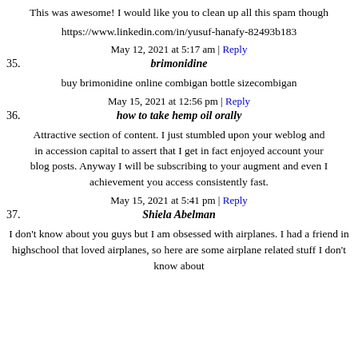This was awesome! I would like you to clean up all this spam though
https://www.linkedin.com/in/yusuf-hanafy-82493b183
May 12, 2021 at 5:17 am | Reply
35. brimonidine
buy brimonidine online combigan bottle sizecombigan
May 15, 2021 at 12:56 pm | Reply
36. how to take hemp oil orally
Attractive section of content. I just stumbled upon your weblog and in accession capital to assert that I get in fact enjoyed account your blog posts. Anyway I will be subscribing to your augment and even I achievement you access consistently fast.
May 15, 2021 at 5:41 pm | Reply
37. Shiela Abelman
I don't know about you guys but I am obsessed with airplanes. I had a friend in highschool that loved airplanes, so here are some airplane related stuff I don't know about